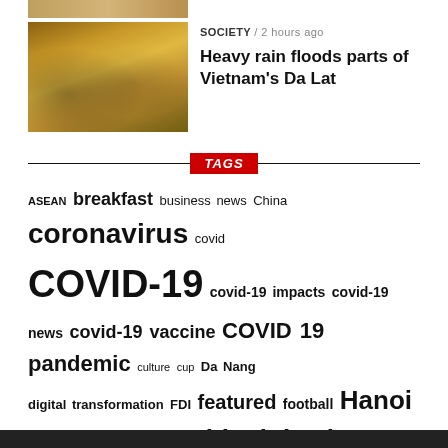[Figure (photo): Partial top edge of a news article thumbnail showing a flooded street scene]
SOCIETY / 2 hours ago
Heavy rain floods parts of Vietnam's Da Lat
[Figure (photo): Thumbnail photo of a flooded area, warm orange/brown tones, people visible]
TAGS
ASEAN breakfast business news China coronavirus covid COVID-19 covid-19 impacts covid-19 news covid-19 vaccine COVID 19 pandemic culture cup Da Nang digital transformation FDI featured football Hanoi HCM City Ho Chi Minh City match Mekong Delta pandemic quarantine social news sport Stock market tourism tournament vaccination vaccine Vietnam Vietnam Airlines Vietnam breaking news Vietnam business news vietnam economy Vietnam education Vietnam latest news Vietnam News vietnam news agency Vietnamplus Vietnam tourism virus Việt Nam